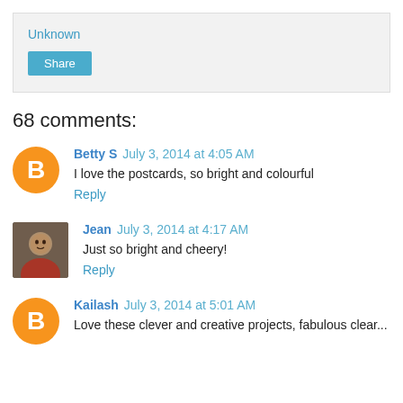Unknown
Share
68 comments:
Betty S July 3, 2014 at 4:05 AM
I love the postcards, so bright and colourful
Reply
Jean July 3, 2014 at 4:17 AM
Just so bright and cheery!
Reply
Kailash July 3, 2014 at 5:01 AM
Love these clever and creative projects, fabulous clear...